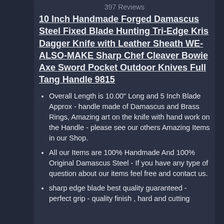397 Reviews
10 Inch Handmade Forged Damascus Steel Fixed Blade Hunting Tri-Edge Kris Dagger Knife with Leather Sheath WE-ALSO-MAKE Sharp Chef Cleaver Bowie Axe Sword Pocket Outdoor Knives Full Tang Handle 9815
Overall Length is 10.00" Long and 5 Inch Blade Approx - handle made of Damascus and Brass Rings, Amazing art on the knife with hand work on the Handle - please see our others Amazing Items in our Shop.
All our Items are 100% Handmade And 100% Original Damascus Steel - If you have any type of question about our items feel free and contact us.
sharp edge blade best quality guaranteed - perfect grip - quality finish , hard and cutting